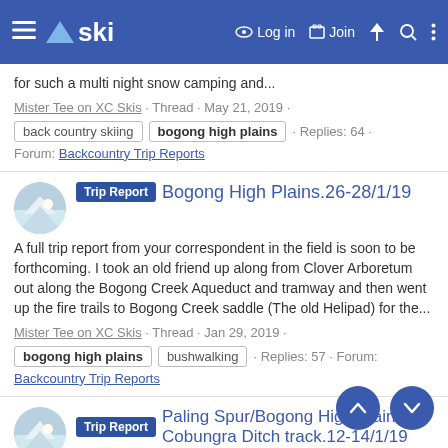ski — Log in · Join
for such a multi night snow camping and...
Mister Tee on XC Skis · Thread · May 21, 2019 · back country skiing · bogong high plains · Replies: 64 · Forum: Backcountry Trip Reports
Trip Report — Bogong High Plains.26-28/1/19
A full trip report from your correspondent in the field is soon to be forthcoming. I took an old friend up along from Clover Arboretum out along the Bogong Creek Aqueduct and tramway and then went up the fire trails to Bogong Creek saddle (The old Helipad) for the...
Mister Tee on XC Skis · Thread · Jan 29, 2019 · bogong high plains · bushwalking · Replies: 57 · Forum: Backcountry Trip Reports
Trip Report — Paling Spur/Bogong High Plains/Cobungra Ditch track.12-14/1/19
Salaam. Your correspondent in the field has returned from